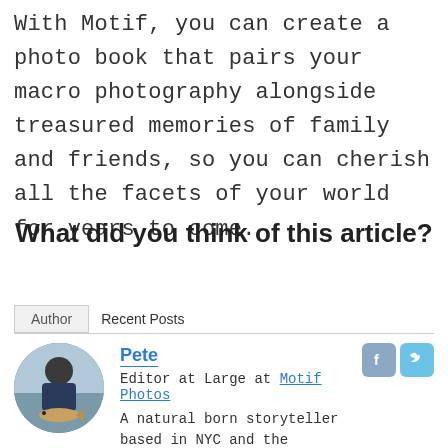With Motif, you can create a photo book that pairs your macro photography alongside treasured memories of family and friends, so you can cherish all the facets of your world for years to come.
What did you think of this article?
Author   Recent Posts
[Figure (photo): Circular avatar photo of Pete, a man holding a large fish outdoors]
Pete
Editor at Large at Motif Photos
A natural born storyteller based in NYC and the